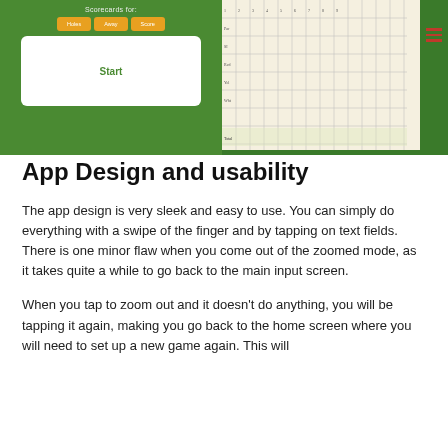[Figure (screenshot): Mobile app screenshot showing a golf scorecard app on a green grass background. Left side shows 'Scorecards for:' label with three orange tab buttons (Holes, Away, Score) and a white card with a green 'Start' button. Right side shows a golf scorecard grid with rows and columns.]
App Design and usability
The app design is very sleek and easy to use. You can simply do everything with a swipe of the finger and by tapping on text fields. There is one minor flaw when you come out of the zoomed mode, as it takes quite a while to go back to the main input screen.
When you tap to zoom out and it doesn't do anything, you will be tapping it again, making you go back to the home screen where you will need to set up a new game again. This will